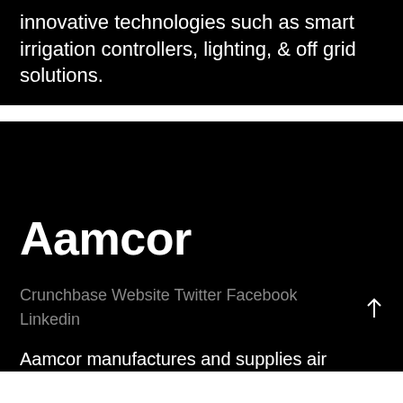innovative technologies such as smart irrigation controllers, lighting, & off grid solutions.
Aamcor
Crunchbase Website Twitter Facebook Linkedin
Aamcor manufactures and supplies air